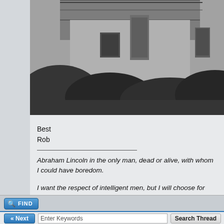[Figure (photo): Black and white sketch/photograph of a rural building or farmhouse with trees and foliage in the foreground]
Best
Rob
Abraham Lincoln in the only man, dead or alive, with whom I could have boredom.
I want the respect of intelligent men, but I will choose for myself the inte...